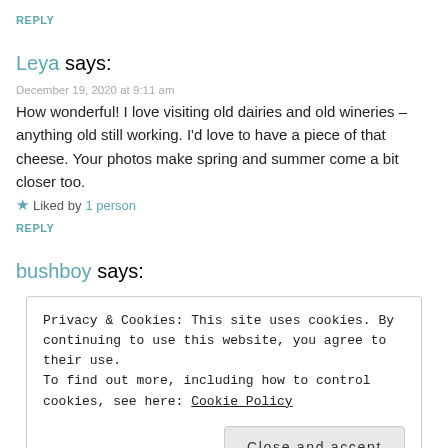REPLY
Leya says:
December 19, 2020 at 9:11 am
How wonderful! I love visiting old dairies and old wineries – anything old still working. I'd love to have a piece of that cheese. Your photos make spring and summer come a bit closer too.
★ Liked by 1 person
REPLY
bushboy says:
Privacy & Cookies: This site uses cookies. By continuing to use this website, you agree to their use. To find out more, including how to control cookies, see here: Cookie Policy
Close and accept